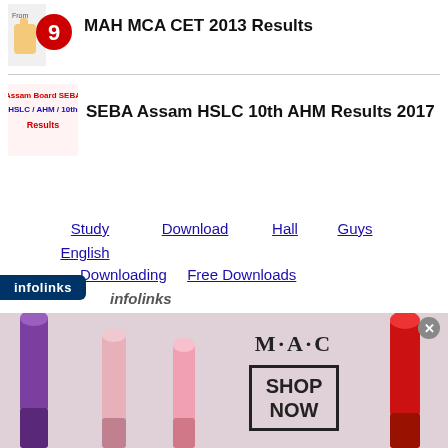[Figure (logo): News9 / Nd TV logo thumbnail with red 9]
MAH MCA CET 2013 Results
[Figure (logo): Assam Board SEBA HSLC / AHM / 10th Results logo]
SEBA Assam HSLC 10th AHM Results 2017
Study
Download
Hall
Guys
English
Downloading
Free Downloads
infolinks
Enter your comment...
[Figure (photo): MAC cosmetics lipstick advertisement banner with SHOP NOW button]